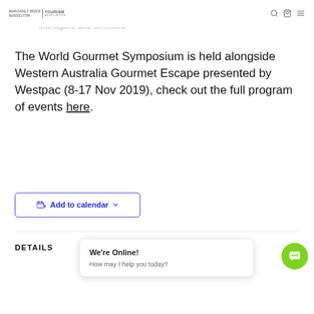Margaret River Busselton | Tourism Association
Hospitality leaders
Managers and directors
The World Gourmet Symposium is held alongside Western Australia Gourmet Escape presented by Westpac (8-17 Nov 2019), check out the full program of events here.
[Figure (other): Add to calendar button with calendar icon and dropdown chevron]
DETAILS
[Figure (other): Live chat popup showing 'We're Online! How may I help you today?' with green chat bubble button]